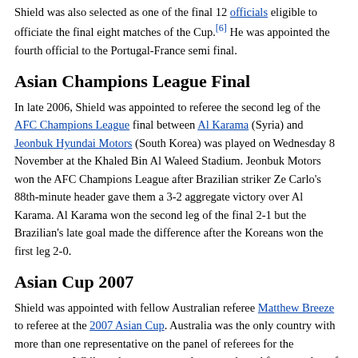Shield was also selected as one of the final 12 officials eligible to officiate the final eight matches of the Cup.[6] He was appointed the fourth official to the Portugal-France semi final.
Asian Champions League Final
In late 2006, Shield was appointed to referee the second leg of the AFC Champions League final between Al Karama (Syria) and Jeonbuk Hyundai Motors (South Korea) was played on Wednesday 8 November at the Khaled Bin Al Waleed Stadium. Jeonbuk Motors won the AFC Champions League after Brazilian striker Ze Carlo's 88th-minute header gave them a 3-2 aggregate victory over Al Karama. Al Karama won the second leg of the final 2-1 but the Brazilian's late goal made the difference after the Koreans won the first leg 2-0.
Asian Cup 2007
Shield was appointed with fellow Australian referee Matthew Breeze to referee at the 2007 Asian Cup. Australia was the only country with more than one representative on the panel of referees for the tournament. While at the tournament, he was selected for a number of matches including the final between Iraq and Saudi Arabia, whilst Breeze was selected to referee a semi-final match